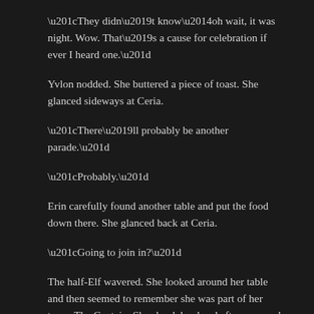“They didn’t know—oh wait, it was night. Wow. That’s a cause for celebration if ever I heard one.”
Yvlon nodded. She buttered a piece of toast. She glanced sideways at Ceria.
“There’ll probably be another parade.”
“Probably.”
Erin carefully found another table and put the food down there. She glanced back at Ceria.
“Going to join in?”
The half-Elf wavered. She looked around her table and then seemed to remember she was part of her team. The Captain. She shook her head after a second.
“Nah. We’re…I’m not up for it. If you all want to do it, that’s fine. I just want to know what they’ll do about—”